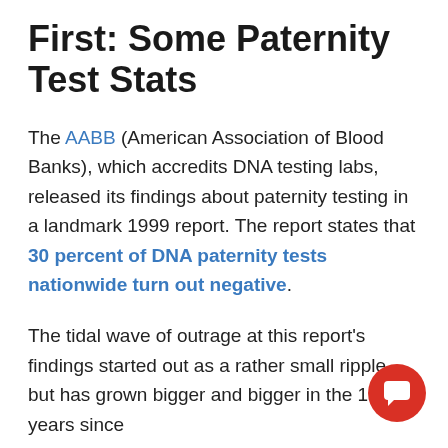First: Some Paternity Test Stats
The AABB (American Association of Blood Banks), which accredits DNA testing labs, released its findings about paternity testing in a landmark 1999 report. The report states that 30 percent of DNA paternity tests nationwide turn out negative.
The tidal wave of outrage at this report's findings started out as a rather small ripple, but has grown bigger and bigger in the 17 years since